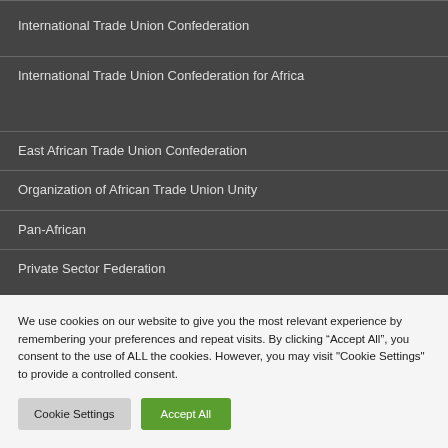International Trade Union Confederation
International Trade Union Confederation for Africa
East African Trade Union Confederation
Organization of African Trade Union Unity
Pan-African
Private Sector Federation
We use cookies on our website to give you the most relevant experience by remembering your preferences and repeat visits. By clicking “Accept All”, you consent to the use of ALL the cookies. However, you may visit "Cookie Settings" to provide a controlled consent.